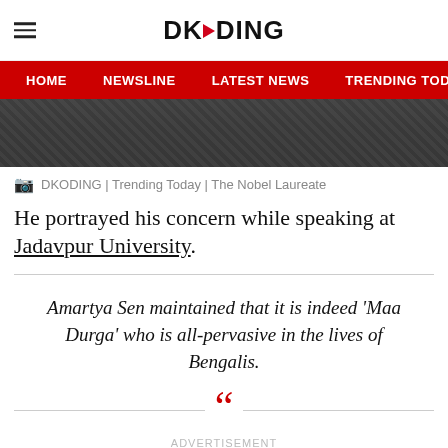DKODING
[Figure (screenshot): Website navigation bar with red background showing: HOME | NEWSLINE | LATEST NEWS | TRENDING TODAY | ENT]
[Figure (photo): Partial photo of a person in a grey sweater, visible from shoulders up, dark background]
DKODING | Trending Today | The Nobel Laureate
He portrayed his concern while speaking at Jadavpur University.
Amartya Sen maintained that it is indeed ‘Maa Durga’ who is all-pervasive in the lives of Bengalis.
ADVERTISEMENT